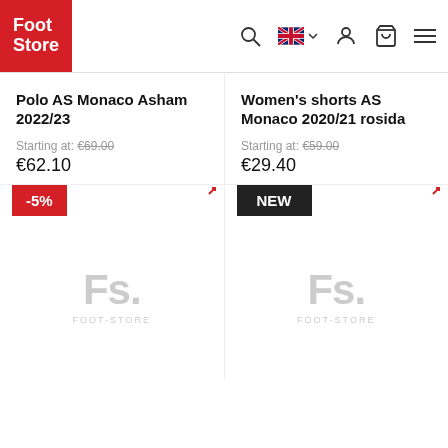Foot Store - navigation header with logo, search, language selector, account, cart, and menu icons
Polo AS Monaco Asham 2022/23
Starting at: €69.00
€62.10
Women's shorts AS Monaco 2020/21 rosida
Starting at: €59.00
€29.40
[Figure (other): Product placeholder image for Polo AS Monaco Asham 2022/23, showing Fs. FOOT-STORE logo in grey, with a red -5% discount badge]
[Figure (other): Product placeholder image for Women's shorts AS Monaco 2020/21 rosida, showing Fs. FOOT-STORE logo in grey, with a black NEW badge]